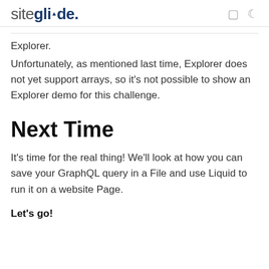siteglide.
Explorer.
Unfortunately, as mentioned last time, Explorer does not yet support arrays, so it's not possible to show an Explorer demo for this challenge.
Next Time
It's time for the real thing! We'll look at how you can save your GraphQL query in a File and use Liquid to run it on a website Page.
Let's go!